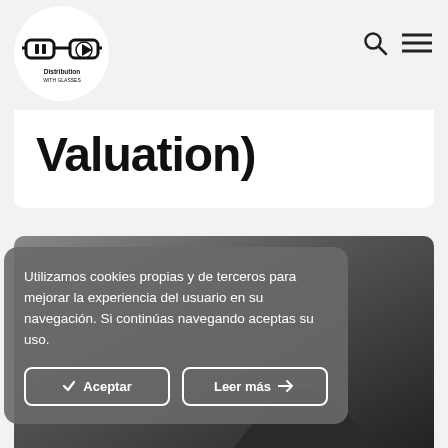[Figure (logo): Distribution With Glasses logo — glasses icon with pause and play buttons, circular white background, text 'Distribution WITH GLASSES']
Valuation)
[Figure (photo): Dark greyscale photo of a person, partially obscured by cookie consent banner]
Utilizamos cookies propias y de terceros para mejorar la experiencia del usuario en su navegación. Si continúas navegando aceptas su uso.
Aceptar
Leer más →